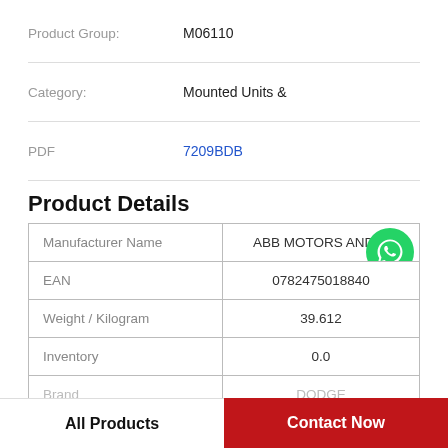| Field | Value |
| --- | --- |
| Product Group: | M06110 |
| Category: | Mounted Units & |
| PDF | 7209BDB |
Product Details
| Field | Value |
| --- | --- |
| Manufacturer Name | ABB MOTORS AND M |
| EAN | 0782475018840 |
| Weight / Kilogram | 39.612 |
| Inventory | 0.0 |
| Brand | DODGE |
All Products
Contact Now